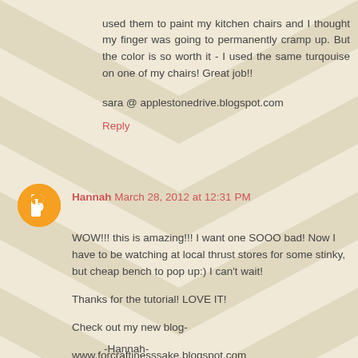used them to paint my kitchen chairs and I thought my finger was going to permanently cramp up. But the color is so worth it - I used the same turqouise on one of my chairs! Great job!!
sara @ applestonedrive.blogspot.com
Reply
Hannah  March 28, 2012 at 12:31 PM
WOW!!! this is amazing!!! I want one SOOO bad! Now I have to be watching at local thrust stores for some stinky, but cheap bench to pop up:) I can't wait!
Thanks for the tutorial! LOVE IT!
Check out my new blog-
www.forcraftinesssake.blogspot.com
-Hannah-